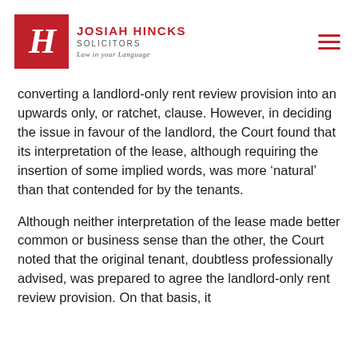[Figure (logo): Josiah Hincks Solicitors logo — red square with white italic H, firm name in red uppercase, tagline 'Law in your Language']
converting a landlord-only rent review provision into an upwards only, or ratchet, clause. However, in deciding the issue in favour of the landlord, the Court found that its interpretation of the lease, although requiring the insertion of some implied words, was more ‘natural’ than that contended for by the tenants.
Although neither interpretation of the lease made better common or business sense than the other, the Court noted that the original tenant, doubtless professionally advised, was prepared to agree the landlord-only rent review provision. On that basis, it